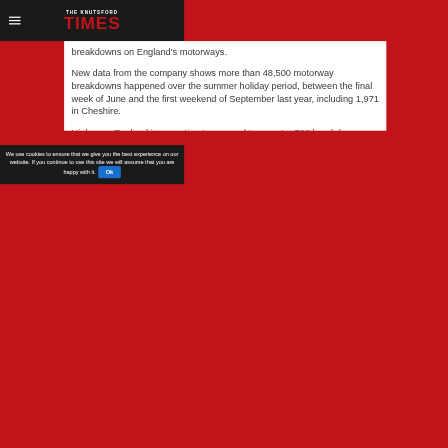THE KNUTSFORD TIMES
breakdowns on England's motorways.
New data from the company shows more than 48,500 motorway breakdowns happened over the summer holiday period, between the final week of June and the first weekend of September last year, including 1,971 in Cheshire.
Highways England is expecting to respond to an extra 700 breakdowns a week across England for the next 10 weeks, taking the average number of motorway breakdowns each week to almost 5,000.
The first weekend in August was the busiest weekend for breakdowns on England's
We use cookies to ensure that we give you the best experience on our website. If you continue to use this site we will assume that you are happy with it.